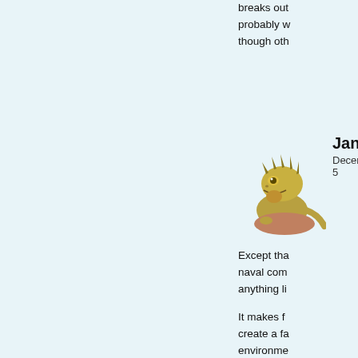breaks out probably w though oth
[Figure (illustration): Cartoon iguana/lizard avatar image]
Jane
December 5
Except tha naval com anything li
It makes f create a fa environme (for instan operating fights can technologi paradigms
Shields, fo doesn't re WW2 guns Smaller cr fire them, Shields – t a meaning EU by the projected a properly, b they'd hav